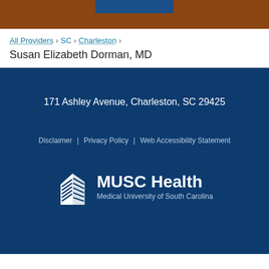[Figure (screenshot): Brown header bar with blue button element at top]
All Providers > SC > Charleston >
Susan Elizabeth Dorman, MD
171 Ashley Avenue, Charleston, SC 29425
Disclaimer | Privacy Policy | Web Accessibility Statement
[Figure (logo): MUSC Health - Medical University of South Carolina logo with building icon]